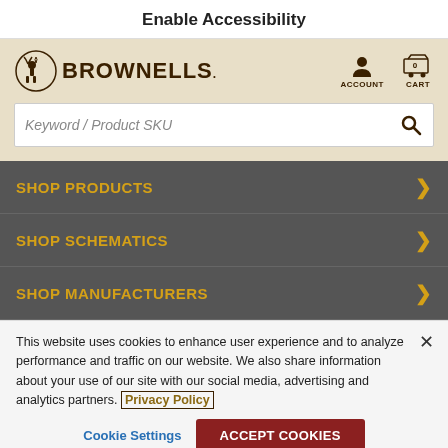Enable Accessibility
[Figure (logo): Brownells logo with deer icon and wordmark, plus Account and Cart icons]
[Figure (screenshot): Search bar with placeholder text 'Keyword / Product SKU' and search icon]
SHOP PRODUCTS
SHOP SCHEMATICS
SHOP MANUFACTURERS
This website uses cookies to enhance user experience and to analyze performance and traffic on our website. We also share information about your use of our site with our social media, advertising and analytics partners. Privacy Policy
Cookie Settings   Accept Cookies